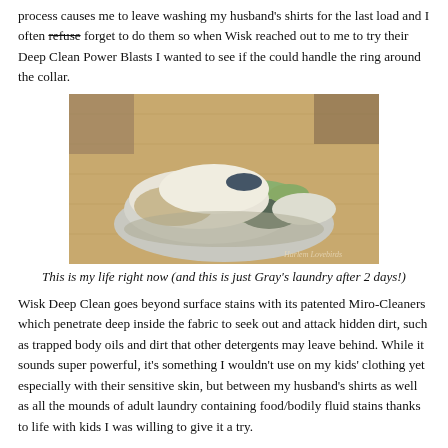process causes me to leave washing my husband's shirts for the last load and I often refuse forget to do them so when Wisk reached out to me to try their Deep Clean Power Blasts I wanted to see if the could handle the ring around the collar.
[Figure (photo): A pile of laundry clothes on a wooden floor. Watermark reads 'Harlem Lovebirds'.]
This is my life right now (and this is just Gray's laundry after 2 days!)
Wisk Deep Clean goes beyond surface stains with its patented Miro-Cleaners which penetrate deep inside the fabric to seek out and attack hidden dirt, such as trapped body oils and dirt that other detergents may leave behind. While it sounds super powerful, it's something I wouldn't use on my kids' clothing yet especially with their sensitive skin, but between my husband's shirts as well as all the mounds of adult laundry containing food/bodily fluid stains thanks to life with kids I was willing to give it a try.